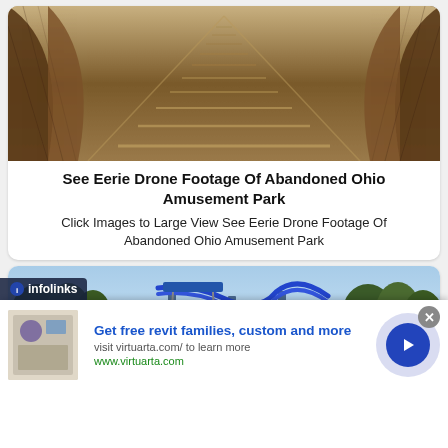[Figure (photo): Sepia-toned photograph looking up a staircase with curved wooden walls on either side, vanishing perspective]
See Eerie Drone Footage Of Abandoned Ohio Amusement Park
Click Images to Large View See Eerie Drone Footage Of Abandoned Ohio Amusement Park
[Figure (photo): Outdoor photo of an amusement park with roller coaster tracks, trees in background, blue sky]
[Figure (screenshot): Infolinks advertisement banner: 'Get free revit families, custom and more' from virtuarta.com with arrow button and close button]